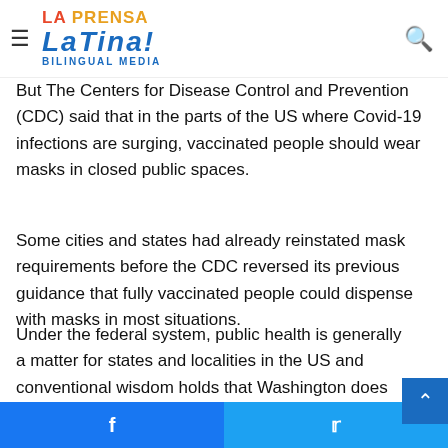La Prensa Latina Bilingual Media
the Americans for Prosperity behind vaccine incentives.
But The Centers for Disease Control and Prevention (CDC) said that in the parts of the US where Covid-19 infections are surging, vaccinated people should wear masks in closed public spaces.
Some cities and states had already reinstated mask requirements before the CDC reversed its previous guidance that fully vaccinated people could dispense with masks in most situations.
Under the federal system, public health is generally a matter for states and localities in the US and conventional wisdom holds that Washington does not have the authority to impose a national mandate for masks or vaccines.
Facebook  Twitter